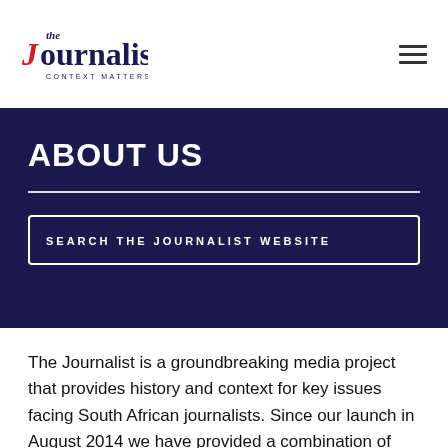the Journalist — CONTEXT MATTERS
ABOUT US
SEARCH THE JOURNALIST WEBSITE
The Journalist is a groundbreaking media project that provides history and context for key issues facing South African journalists. Since our launch in August 2014 we have provided a combination of first-rate storytelling with context and detail…